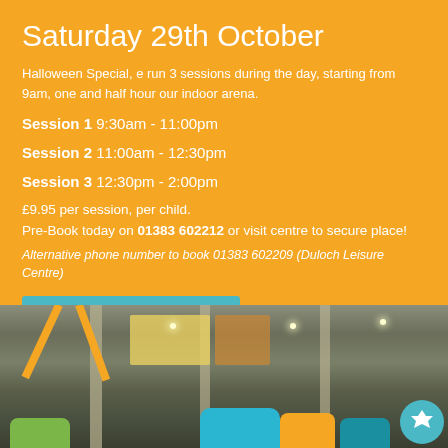Saturday 29th October
Halloween Special, e run 3 sessions during the day, starting from 9am, one and half hour our indoor arena.
Session 1 9:30am - 11:00pm
Session 2 11:00am - 12:30pm
Session 3 12:30pm - 2:00pm
£9.95 per session, per child.
Pre-Book today on 01383 602212 or visit centre to secure place!
Alternative phone number to book 01383 602209 (Duloch Leisure Centre)
Find out more about Pitreavie >
[Figure (photo): Interior photo of an indoor arena/leisure centre showing structural beams, colorful foam play equipment in foreground (green, blue, yellow shapes), ceiling lights, and wall murals in the background.]